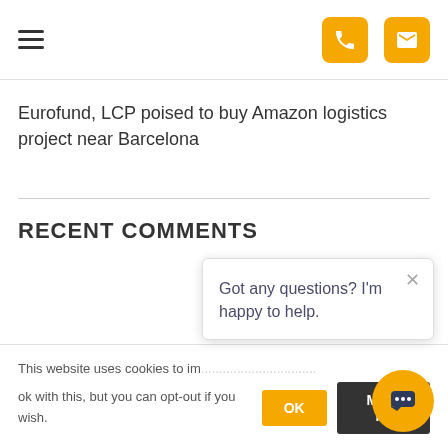[Navigation bar with hamburger menu and phone/email icons]
Eurofund, LCP poised to buy Amazon logistics project near Barcelona
RECENT COMMENTS
This website uses cookies to im... ok with this, but you can opt-out if you wish.
Got any questions? I'm happy to help.